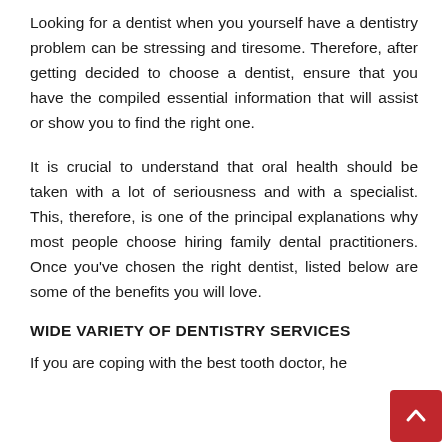Looking for a dentist when you yourself have a dentistry problem can be stressing and tiresome. Therefore, after getting decided to choose a dentist, ensure that you have the compiled essential information that will assist or show you to find the right one.
It is crucial to understand that oral health should be taken with a lot of seriousness and with a specialist. This, therefore, is one of the principal explanations why most people choose hiring family dental practitioners. Once you've chosen the right dentist, listed below are some of the benefits you will love.
WIDE VARIETY OF DENTISTRY SERVICES
If you are coping with the best tooth doctor, he